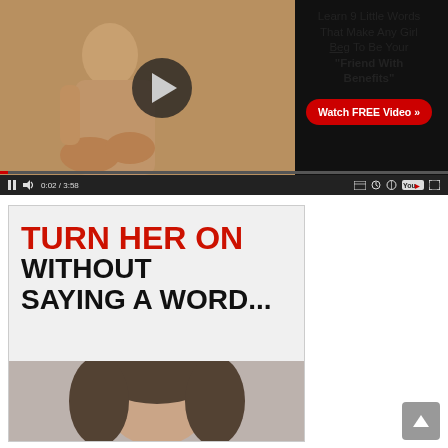[Figure (screenshot): Video player thumbnail showing a figure, with a play button overlay, an advertisement text panel on the right, and video controls at the bottom]
Learn 9 Little Words That Make Any Girl Beg To Be Your "Friend With Benefits"
Watch FREE Video »
[Figure (screenshot): Advertisement banner: 'TURN HER ON WITHOUT SAYING A WORD...' with a woman's photo below]
TURN HER ON WITHOUT SAYING A WORD...